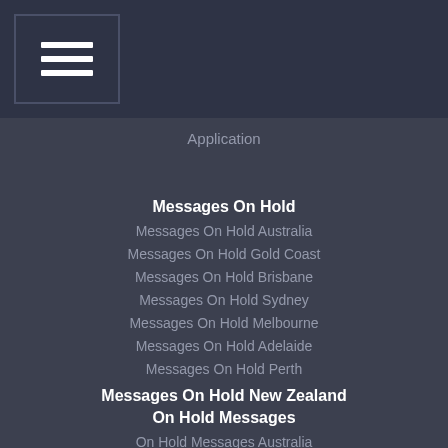Application
Messages On Hold
Messages On Hold Australia
Messages On Hold Gold Coast
Messages On Hold Brisbane
Messages On Hold Sydney
Messages On Hold Melbourne
Messages On Hold Adelaide
Messages On Hold Perth
Messages On Hold New Zealand
On Hold Messages
On Hold Messages Australia
On Hold Messages Gold Coast